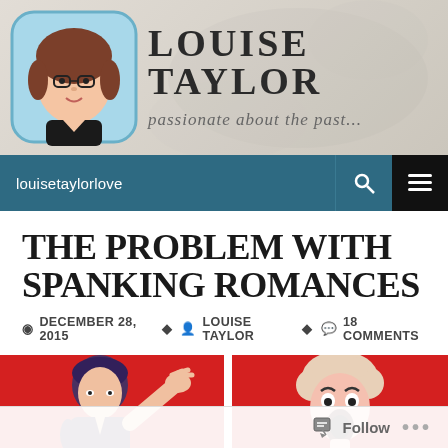[Figure (illustration): Louise Taylor blog site header with cartoon avatar of a woman with brown hair and glasses in a decorative blue frame, large bold uppercase site title 'LOUISE TAYLOR', and italic script tagline 'passionate about the past...' on a light beige floral background]
louisetaylorlove
THE PROBLEM WITH SPANKING ROMANCES
DECEMBER 28, 2015  LOUISE TAYLOR  18 COMMENTS
[Figure (illustration): Two-panel pop-art style illustration on red background. Left panel: man with dark hair in profile raising his hand. Right panel: woman with curly hair, mouth open in shock/scream.]